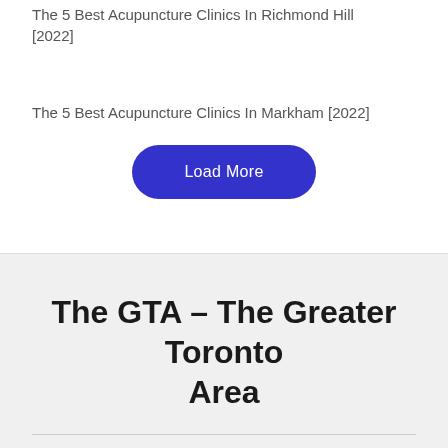The 5 Best Acupuncture Clinics In Richmond Hill [2022]
The 5 Best Acupuncture Clinics In Markham [2022]
Load More
The GTA – The Greater Toronto Area